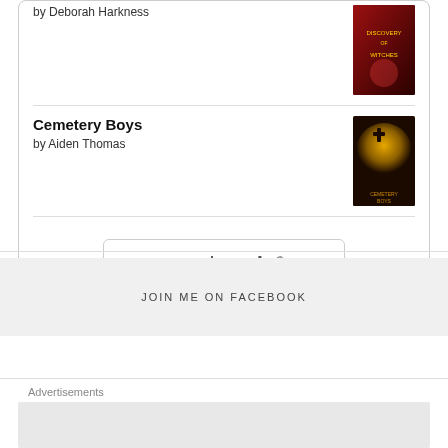by Deborah Harkness
[Figure (illustration): Book cover of A Discovery of Witches with dark red background]
Cemetery Boys
by Aiden Thomas
[Figure (illustration): Book cover of Cemetery Boys with orange and dark background]
[Figure (logo): Goodreads logo button with rounded rectangle border]
JOIN ME ON FACEBOOK
Advertisements